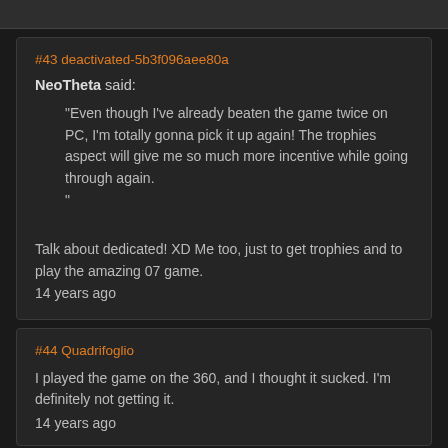#43 deactivated-5b3f096aee80a
NeoTheta said:
"Even though I've already beaten the game twice on PC, I'm totally gonna pick it up again! The trophies aspect will give me so much more incentive while going through again.
"
Talk about dedicated! XD Me too, just to get trophies and to play the amazing 07 game.
14 years ago
#44 Quadrifoglio
I played the game on the 360, and I thought it sucked. I'm definitely not getting it.
14 years ago